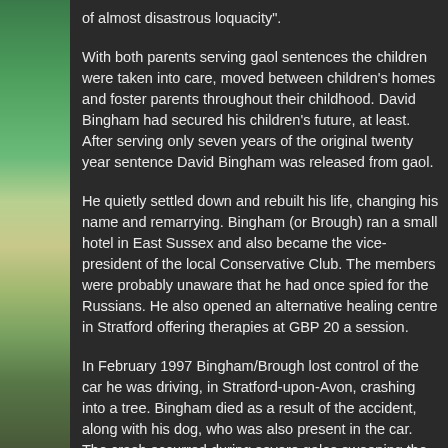[Figure (photo): Left side panel showing a tropical beach scene with palm trees and sandy shore, dark background]
of almost disastrous loquacity".
With both parents serving gaol sentences the children were taken into care, moved between children's homes and foster parents throughout their childhood. David Bingham had secured his children's future, at least. After serving only seven years of the original twenty year sentence David Bingham was released from gaol.
He quietly settled down and rebuilt his life, changing his name and remarrying. Bingham (or Brough) ran a small hotel in East Sussex and also became the vice-president of the local Conservative Club. The members were probably unaware that he had once spied for the Russians. He also opened an alternative healing centre in Stratford offering therapies at GBP 20 a session.
In February 1997 Bingham/Brough lost control of the car he was driving, in Stratford-upon-Avon, crashing into a tree. Bingham died as a result of the accident, along with his dog, who was also present in the car. The crash occurred during severe gales sweeping the country. He was 56.